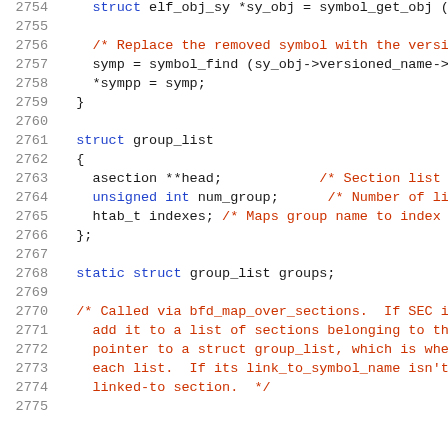Code listing lines 2754-2775, C source code showing struct group_list definition and related code
[Figure (screenshot): Source code viewer showing C code lines 2754-2775 with syntax highlighting: line numbers in gray, keywords in blue, comments in red, code in dark.]